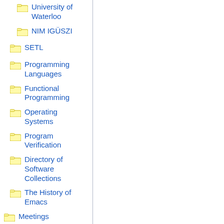University of Waterloo
NIM IGÜSZI
SETL
Programming Languages
Functional Programming
Operating Systems
Program Verification
Directory of Software Collections
The History of Emacs
Meetings
Software Preservation Wiki
Discussion F...